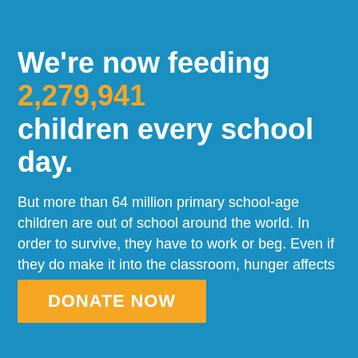We're now feeding 2,279,941 children every school day.
But more than 64 million primary school-age children are out of school around the world. In order to survive, they have to work or beg. Even if they do make it into the classroom, hunger affects their ability to learn.
DONATE NOW